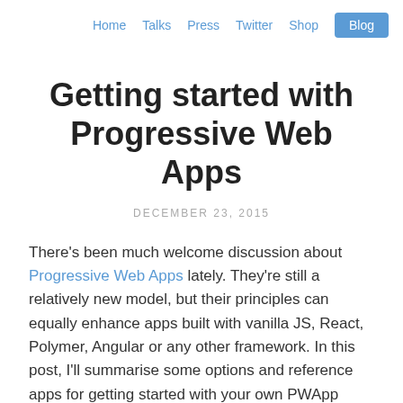Home  Talks  Press  Twitter  Shop  Blog
Getting started with Progressive Web Apps
DECEMBER 23, 2015
There's been much welcome discussion about Progressive Web Apps lately. They're still a relatively new model, but their principles can equally enhance apps built with vanilla JS, React, Polymer, Angular or any other framework. In this post, I'll summarise some options and reference apps for getting started with your own PWApp